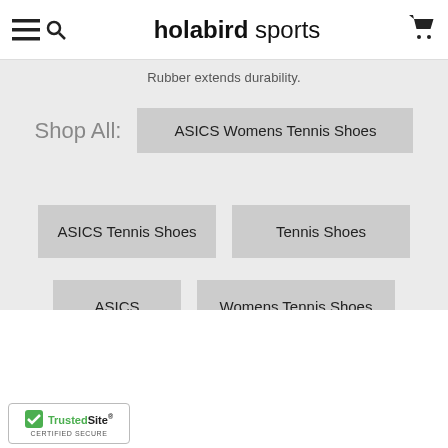holabird sports
Rubber extends durability.
Shop All:
ASICS Womens Tennis Shoes
ASICS Tennis Shoes
Tennis Shoes
ASICS
Womens Tennis Shoes
[Figure (logo): TrustedSite Certified Secure badge with green checkmark]
CERTIFIED SECURE